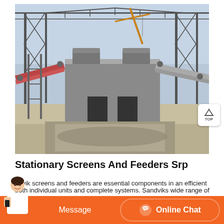[Figure (photo): Industrial construction site showing screening and feeding equipment under a steel frame structure, with conveyor belts, concrete structures, a crane, and sandy ground visible.]
Stationary Screens And Feeders Srp
ndvik screens and feeders are essential components in an efficient
both individual units and complete systems. Sandviks wide range of